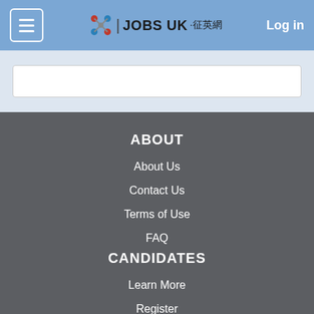JOBS UK · 征英網  Log in
ABOUT
About Us
Contact Us
Terms of Use
FAQ
CANDIDATES
Learn More
Register
Search Jobs